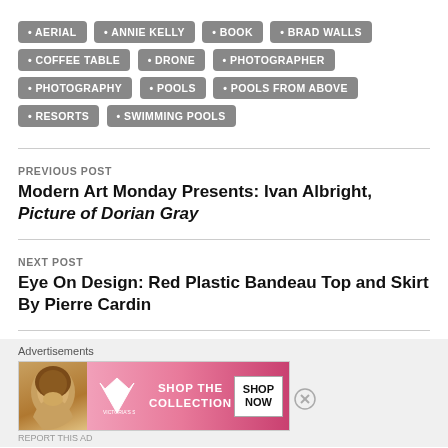AERIAL
ANNIE KELLY
BOOK
BRAD WALLS
COFFEE TABLE
DRONE
PHOTOGRAPHER
PHOTOGRAPHY
POOLS
POOLS FROM ABOVE
RESORTS
SWIMMING POOLS
PREVIOUS POST
Modern Art Monday Presents: Ivan Albright, Picture of Dorian Gray
NEXT POST
Eye On Design: Red Plastic Bandeau Top and Skirt By Pierre Cardin
Advertisements
[Figure (screenshot): Victoria's Secret advertisement banner: pink gradient background with woman's face, VS logo, 'SHOP THE COLLECTION' text, and 'SHOP NOW' button]